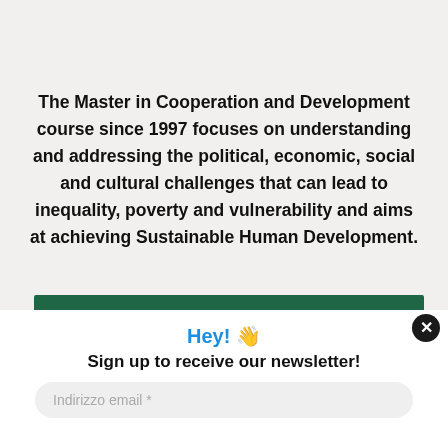The Master in Cooperation and Development course since 1997 focuses on understanding and addressing the political, economic, social and cultural challenges that can lead to inequality, poverty and vulnerability and aims at achieving Sustainable Human Development.
[Figure (other): Dark green horizontal banner bar]
Hey! 👋
Sign up to receive our newsletter!
Indirizzo email *